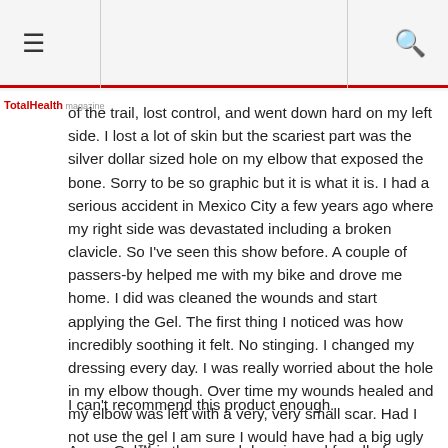≡  [TotalHealth magazine logo]  🔍
of the trail, lost control, and went down hard on my left side. I lost a lot of skin but the scariest part was the silver dollar sized hole on my elbow that exposed the bone. Sorry to be so graphic but it is what it is. I had a serious accident in Mexico City a few years ago where my right side was devastated including a broken clavicle. So I've seen this show before. A couple of passers-by helped me with my bike and drove me home. I did was cleaned the wounds and start applying the Gel. The first thing I noticed was how incredibly soothing it felt. No stinging. I changed my dressing every day. I was really worried about the hole in my elbow though. Over time my wounds healed and my elbow was left with a very, very small scar. Had I not use the gel I am sure I would have had a big ugly scar on my elbow.
I can't recommend this product enough.
Armor Gel™ is the wound dressing gel for all of your family's